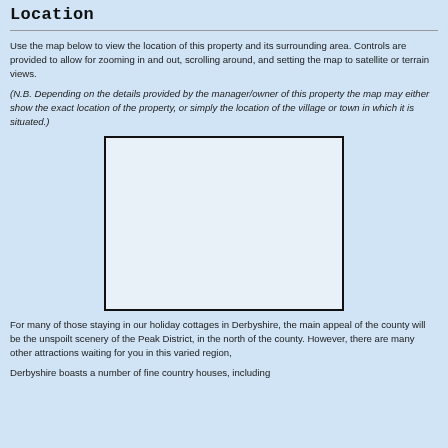Location
Use the map below to view the location of this property and its surrounding area. Controls are provided to allow for zooming in and out, scrolling around, and setting the map to satellite or terrain views.
(N.B. Depending on the details provided by the manager/owner of this property the map may either show the exact location of the property, or simply the location of the village or town in which it is situated.)
[Figure (map): Map placeholder box showing location of property in Derbyshire]
For many of those staying in our holiday cottages in Derbyshire, the main appeal of the county will be the unspoilt scenery of the Peak District, in the north of the county. However, there are many other attractions waiting for you in this varied region,
Derbyshire boasts a number of fine country houses, including